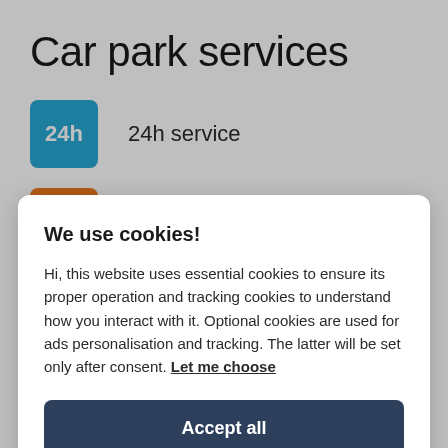Car park services
24h service
Maximum vehicle size:
We use cookies!
Hi, this website uses essential cookies to ensure its proper operation and tracking cookies to understand how you interact with it. Optional cookies are used for ads personalisation and tracking. The latter will be set only after consent. Let me choose
Accept all
Settings